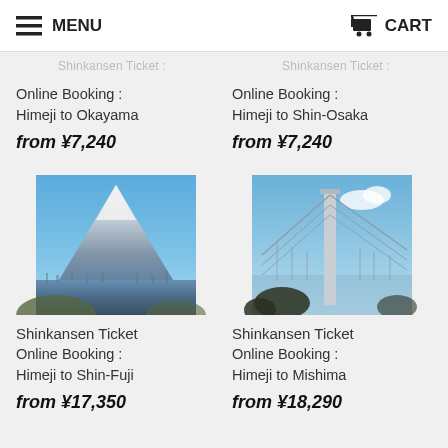MENU   CART
Shinkansen Ticket:   Shinkansen Ticket:
Online Booking :
Himeji to Okayama
from ¥7,240
Online Booking :
Himeji to Shin-Osaka
from ¥7,240
[Figure (photo): Snow-capped Mt. Fuji viewed from a city below, blue sky]
[Figure (photo): Tall suspension bridge tower against blue sky with cables descending]
Shinkansen Ticket Online Booking :
Himeji to Shin-Fuji
from ¥17,350
Shinkansen Ticket Online Booking :
Himeji to Mishima
from ¥18,290